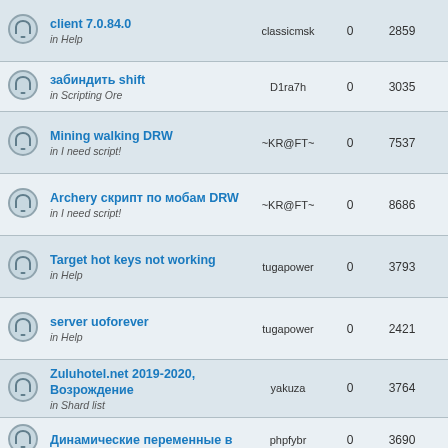|  | Topic | Author | Replies | Views | Last Post |
| --- | --- | --- | --- | --- | --- |
|  | client 7.0.84.0
in Help | classicmsk | 0 | 2859 | 2020-03-06 15:53:48
classicmsk |
|  | забиндить shift
in Scripting Ore | D1ra7h | 0 | 3035 | 2020-02-27 17:16:12
D1ra7h |
|  | Mining walking DRW
in I need script! | ~KR@FT~ | 0 | 7537 | 2019-12-09 11:38:18
~KR@FT~ |
|  | Archery скрипт по мобам DRW
in I need script! | ~KR@FT~ | 0 | 8686 | 2019-12-06 21:21:31
~KR@FT~ |
|  | Target hot keys not working
in Help | tugapower | 0 | 3793 | 2019-12-02 21:27:09
tugapower |
|  | server uoforever
in Help | tugapower | 0 | 2421 | 2019-11-25 21:59:33
tugapower |
|  | Zuluhotel.net 2019-2020, Возрождение
in Shard list | yakuza | 0 | 3764 | 2019-10-07 12:23:00
yakuza |
|  | Динамические переменные в | phpfybr | 0 | 3690 | 2019-09-26 10:21:25 |